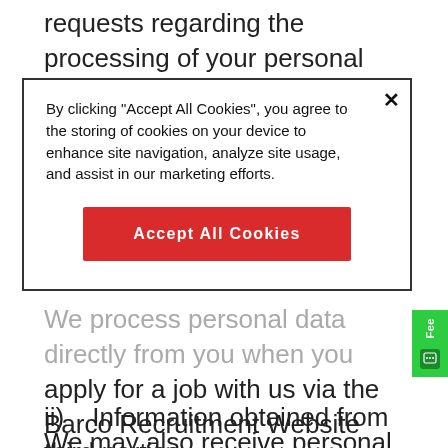requests regarding the processing of your personal data. The contact details of the DPO can be found
[Figure (screenshot): Cookie consent modal overlay with text: 'By clicking "Accept All Cookies", you agree to the storing of cookies on your device to enhance site navigation, analyze site usage, and assist in our marketing efforts.' and a red 'Accept All Cookies' button.]
We process personal data directly from you when you apply for a job with us via the Barco Recruitment Website (https://jobs.barco.com/) or otherwise. In this case, we usually receive information such as your first name, last name, e-mail address, telephone number, title, address details (street, number, postal code, city, country), date and place of birth, work and educational history, achievements and test results.
ii)	Information obtained from third parties
We may also receive personal data about you from